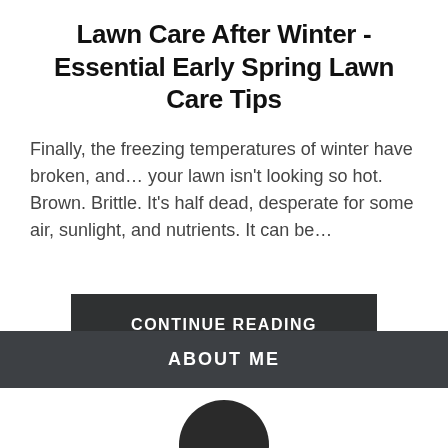Lawn Care After Winter - Essential Early Spring Lawn Care Tips
Finally, the freezing temperatures of winter have broken, and… your lawn isn't looking so hot. Brown. Brittle. It's half dead, desperate for some air, sunlight, and nutrients. It can be…
CONTINUE READING
ABOUT ME
[Figure (photo): Circular avatar photo, partially visible at bottom of page, dark colored image]